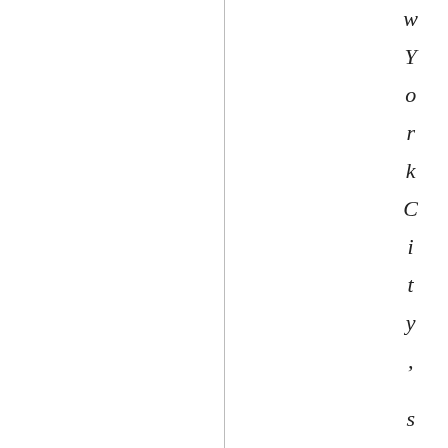w York City, s five boroughs, w